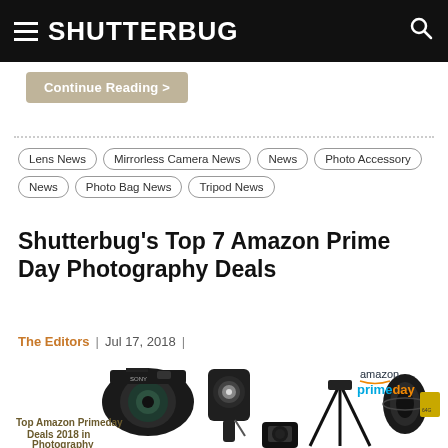SHUTTERBUG
Continue Reading >
Lens News
Mirrorless Camera News
News
Photo Accessory News
Photo Bag News
Tripod News
Shutterbug’s Top 7 Amazon Prime Day Photography Deals
The Editors  |  Jul 17, 2018  |
[Figure (photo): Composite photo showing photography equipment including a Sony mirrorless camera body, studio flash, tripod, camera lens, SD card, GoPro-style action camera, and Amazon Prime Day logo]